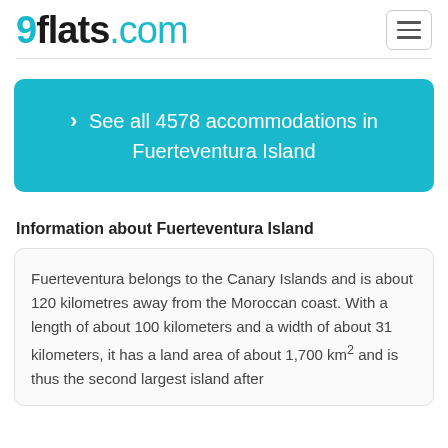9flats.com
See all 4578 accommodations in Fuerteventura Island
Information about Fuerteventura Island
Fuerteventura belongs to the Canary Islands and is about 120 kilometres away from the Moroccan coast. With a length of about 100 kilometers and a width of about 31 kilometers, it has a land area of about 1,700 km² and is thus the second largest island after